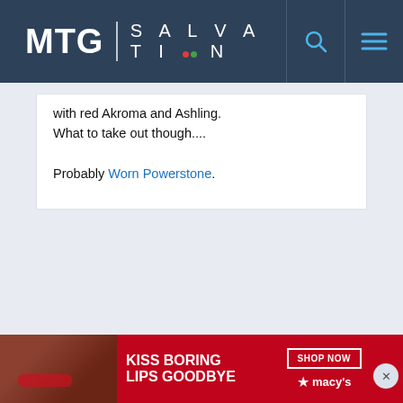MTG | SALVATION
with red Akroma and Ashling. What to take out though....
Probably Worn Powerstone.
[Figure (photo): Advertisement banner for Macy's: 'KISS BORING LIPS GOODBYE' with SHOP NOW button and Macy's star logo, featuring a woman's face with red lipstick]